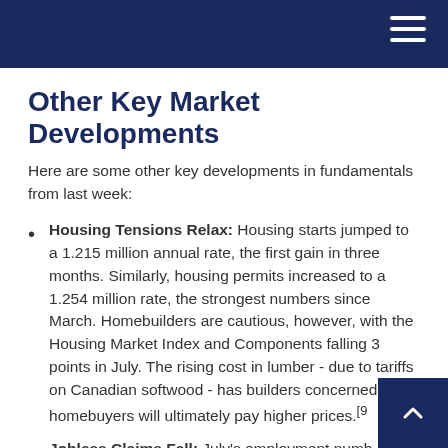Other Key Market Developments
Here are some other key developments in fundamentals from last week:
Housing Tensions Relax: Housing starts jumped to a 1.215 million annual rate, the first gain in three months. Similarly, housing permits increased to a 1.254 million rate, the strongest numbers since March. Homebuilders are cautious, however, with the Housing Market Index and Components falling 3 points in July. The rising cost in lumber - due to tariffs on Canadian softwood - has builders concerned, as homebuyers will ultimately pay higher prices.[9]
Jobless Claims Fall: July's employment numbers look hopeful as the initial jobless claims for the week